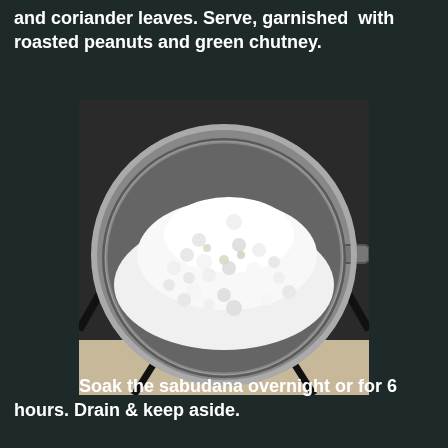and coriander leaves. Serve, garnished with roasted peanuts and green chutney.
[Figure (photo): A metal colander/strainer sitting on a stove top, filled with white sabudana (tapioca pearls).]
Soak the sabudana overnight or for 6 hours. Drain & keep aside.